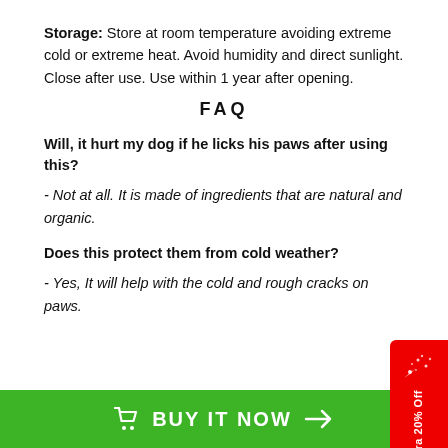Storage: Store at room temperature avoiding extreme cold or extreme heat. Avoid humidity and direct sunlight. Close after use. Use within 1 year after opening.
FAQ
Will, it hurt my dog if he licks his paws after using this?
- Not at all. It is made of ingredients that are natural and organic.
Does this protect them from cold weather?
- Yes, It will help with the cold and rough cracks on paws.
[Figure (other): Red promotional badge on right side reading 'Extra 20% Off' with confetti icon]
BUY IT NOW